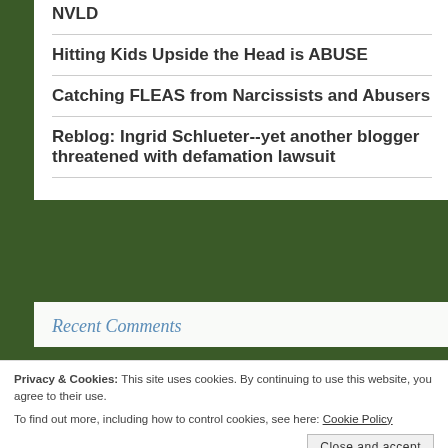NVLD
Hitting Kids Upside the Head is ABUSE
Catching FLEAS from Narcissists and Abusers
Reblog: Ingrid Schlueter--yet another blogger threatened with defamation lawsuit
Recent Comments
Privacy & Cookies: This site uses cookies. By continuing to use this website, you agree to their use. To find out more, including how to control cookies, see here: Cookie Policy
Close and accept